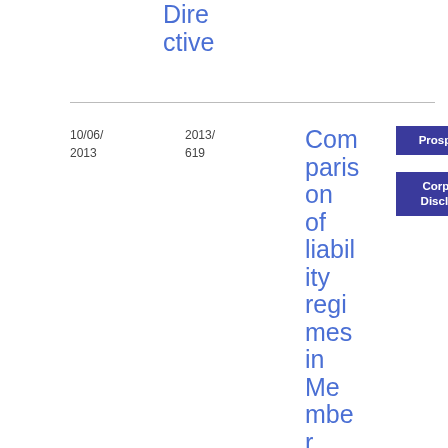Directive
10/06/2013
2013/619
Comparison of liability regimes in Member States in relation to the Prospectus
Prospectus
Corporate Disclosure
Final Report
PDF
596.91 KB